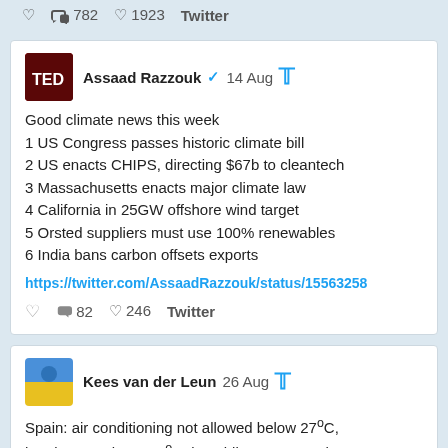782  1923  Twitter
Assaad Razzouk ✓  14 Aug
Good climate news this week
1 US Congress passes historic climate bill
2 US enacts CHIPS, directing $67b to cleantech
3 Massachusetts enacts major climate law
4 California in 25GW offshore wind target
5 Orsted suppliers must use 100% renewables
6 India bans carbon offsets exports
https://twitter.com/AssaadRazzouk/status/15563258
82  246  Twitter
Kees van der Leun  26 Aug
Spain: air conditioning not allowed below 27°C, heating not above 19°C, in public transport, shops, offices, theatres and cinemas.